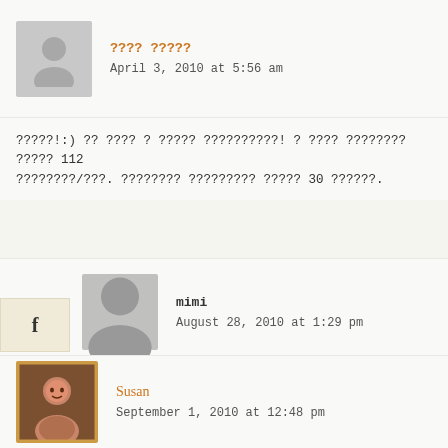???? ?????
April 3, 2010 at 5:56 am
?????!:) ?? ???? ? ????? ??????????! ? ???? ???????? ????? 112 ????????/???. ???????? ????????? ????? 30 ??????.
mimi
August 28, 2010 at 1:29 pm
Thanks for the detailed recipe! That hanging apparatus was just amazing 😊 How is the chocolate when the cake is cold, does it get solid or will it stay soft? I had some excellent panettone last christmas, and the chocolate filling was soft even though the cake itself was cold (by cold i mean room temperatured), and i was wondering if the chocolate maybe had some butter mixed in it. I hope you'll still manage to answer this, although it's been a while since you posted this recipe.
Susan
September 1, 2010 at 12:48 pm